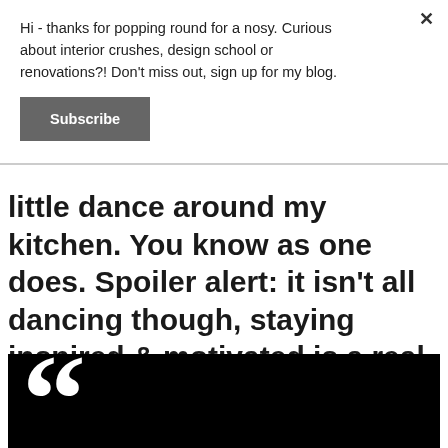Hi - thanks for popping round for a nosy. Curious about interior crushes, design school or renovations?! Don't miss out, sign up for my blog.
[Figure (other): Subscribe button — dark grey rectangular button with white bold text 'Subscribe']
little dance around my kitchen. You know as one does. Spoiler alert: it isn't all dancing though, staying inspired & motivated is a real challenge at times.
[Figure (illustration): Black rectangle with large white open-quotation marks (66) on the left side, representing a pull-quote decorative element.]